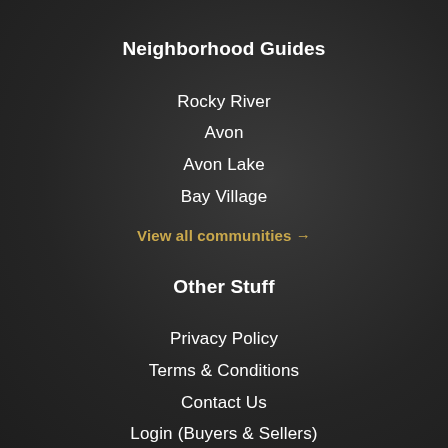Neighborhood Guides
Rocky River
Avon
Avon Lake
Bay Village
View all communities →
Other Stuff
Privacy Policy
Terms & Conditions
Contact Us
Login (Buyers & Sellers)